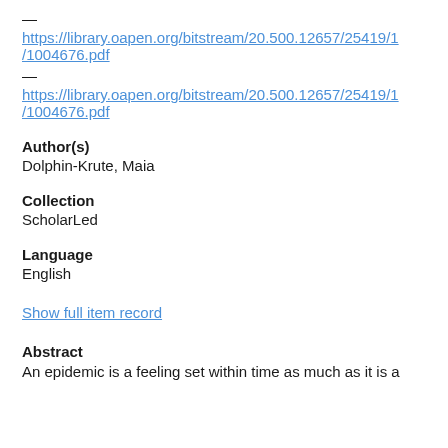—
https://library.oapen.org/bitstream/20.500.12657/25419/1/1004676.pdf
—
https://library.oapen.org/bitstream/20.500.12657/25419/1/1004676.pdf
Author(s)
Dolphin-Krute, Maia
Collection
ScholarLed
Language
English
Show full item record
Abstract
An epidemic is a feeling set within time as much as it is a